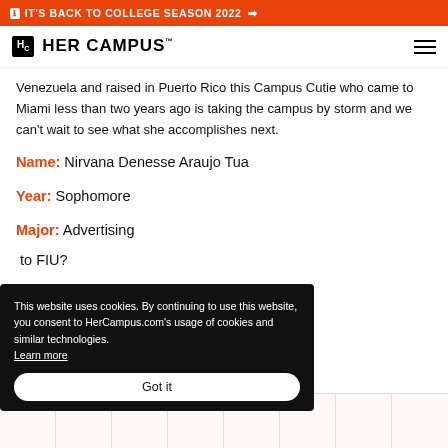IT'S BACK TO COLLEGE SEASON 2022 →
HER CAMPUS
Venezuela and raised in Puerto Rico this Campus Cutie who came to Miami less than two years ago is taking the campus by storm and we can't wait to see what she accomplishes next.
Name: Nirvana Denesse Araujo Tua
Year: Sophomore
Major: Advertising
to FIU?
This website uses cookies. By continuing to use this website, you consent to HerCampus.com's usage of cookies and similar technologies. Learn more Got it